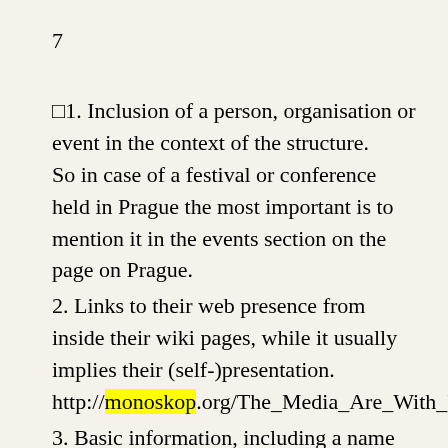7
1. Inclusion of a person, organisation or event in the context of the structure. So in case of a festival or conference held in Prague the most important is to mention it in the events section on the page on Prague.
2. Links to their web presence from inside their wiki pages, while it usually implies their (self-)presentation. http://monoskop.org/The_Media_Are_With_Us
3. Basic information, including a name or title